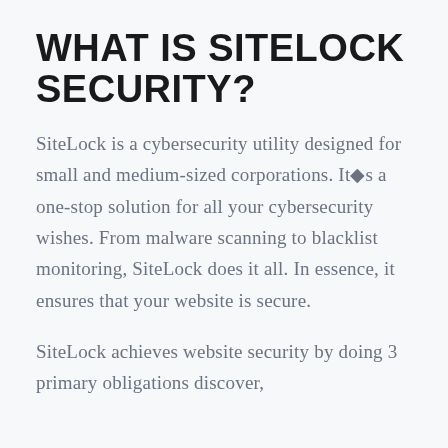WHAT IS SITELOCK SECURITY?
SiteLock is a cybersecurity utility designed for small and medium-sized corporations. It�s a one-stop solution for all your cybersecurity wishes. From malware scanning to blacklist monitoring, SiteLock does it all. In essence, it ensures that your website is secure.
SiteLock achieves website security by doing 3 primary obligations discover,